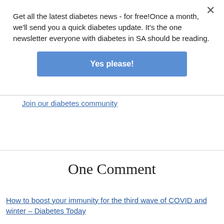Get all the latest diabetes news - for free!Once a month, we'll send you a quick diabetes update. It's the one newsletter everyone with diabetes in SA should be reading.
[Figure (other): Blue 'Yes please!' button]
Join our diabetes community
One Comment
How to boost your immunity for the third wave of COVID and winter – Diabetes Today